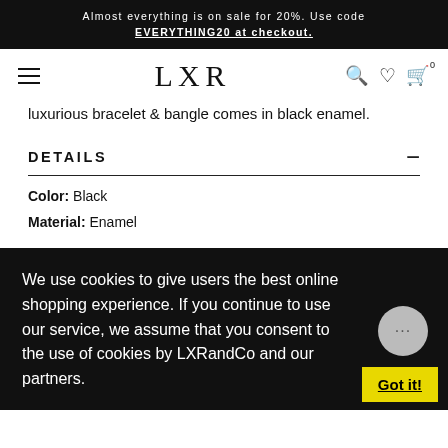Almost everything is on sale for 20%. Use code EVERYTHING20 at checkout.
LXR
luxurious bracelet & bangle comes in black enamel.
DETAILS
Color: Black
Material: Enamel
We use cookies to give users the best online shopping experience. If you continue to use our service, we assume that you consent to the use of cookies by LXRandCo and our partners.